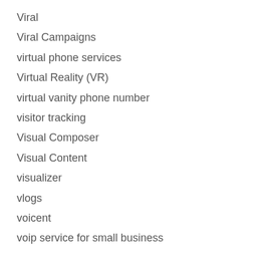Viral
Viral Campaigns
virtual phone services
Virtual Reality (VR)
virtual vanity phone number
visitor tracking
Visual Composer
Visual Content
visualizer
vlogs
voicent
voip service for small business